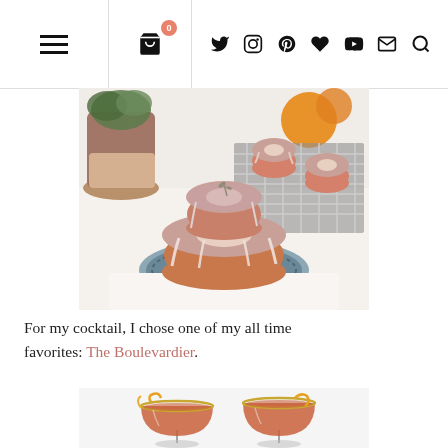Navigation bar with hamburger menu, cart, and social icons
[Figure (photo): Mini bundt cakes with pink glaze on a blue plate, with a plant and oranges in the background]
For my cocktail, I chose one of my all time favorites: The Boulevardier.
[Figure (photo): Two coupe glasses filled with reddish-orange cocktail, garnished with orange peel, on white background]